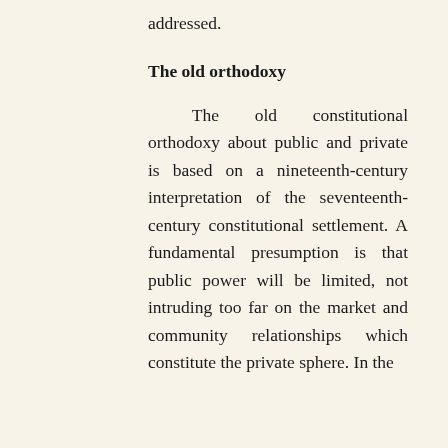addressed.
The old orthodoxy
The old constitutional orthodoxy about public and private is based on a nineteenth-century interpretation of the seventeenth-century constitutional settlement. A fundamental presumption is that public power will be limited, not intruding too far on the market and community relationships which constitute the private sphere. In the